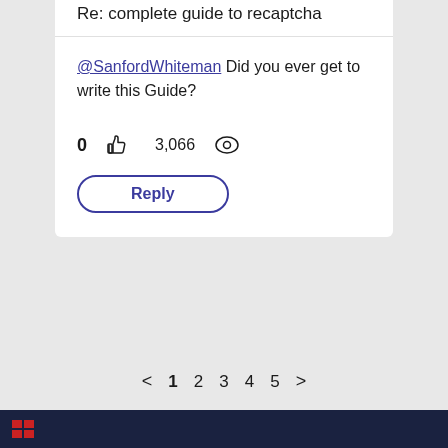Re: complete guide to recaptcha
@SanfordWhiteman Did you ever get to write this Guide?
0  3,066
Reply
< 1 2 3 4 5 >